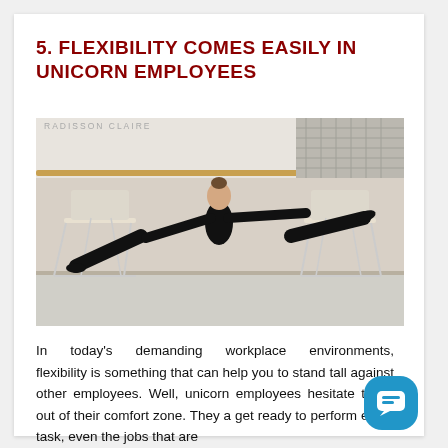5. FLEXIBILITY COMES EASILY IN UNICORN EMPLOYEES
[Figure (photo): A gymnast or dancer in black outfit performing a full split between two office chairs in what appears to be a dance studio or gym. Watermark text reads RADISSON CLAIRE.]
In today's demanding workplace environments, flexibility is something that can help you to stand tall against other employees. Well, unicorn employees hesitate to go out of their comfort zone. They a get ready to perform every task, even the jobs that are